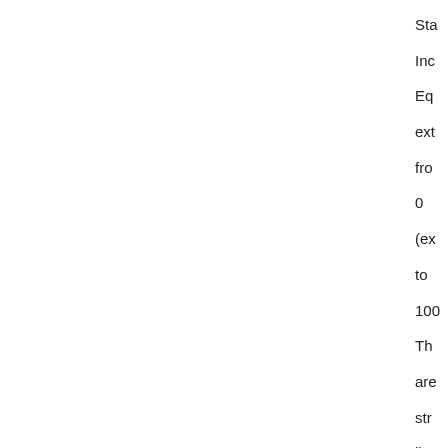Sta Inc Eq ext fro 0 (ex to 100 Th are str line eve but the are als not nea line and act are all